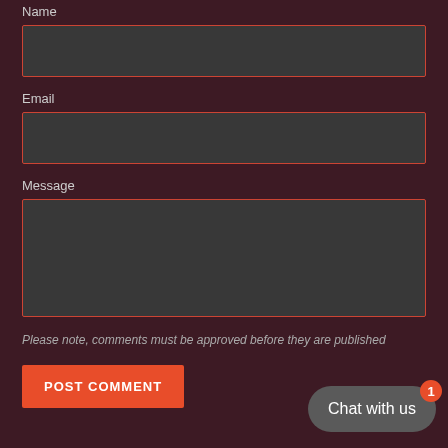Name
Email
Message
Please note, comments must be approved before they are published
POST COMMENT
Chat with us